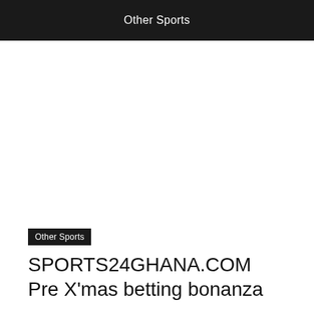Other Sports
Other Sports
SPORTS24GHANA.COM Pre X'mas betting bonanza